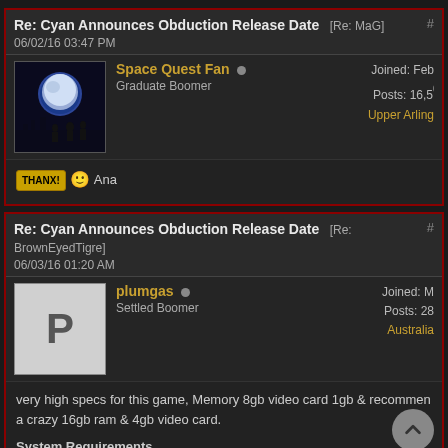Re: Cyan Announces Obduction Release Date [Re: MaG] #
06/02/16 03:47 PM
Space Quest Fan  Graduate Boomer  Joined: Feb  Posts: 16,50  Upper Arling
THANX! 🙂 Ana
Re: Cyan Announces Obduction Release Date [Re: BrownEyedTigre] #
06/03/16 01:20 AM
plumgas  Settled Boomer  Joined: M  Posts: 28  Australia
very high specs for this game, Memory 8gb video card 1gb & recommen a crazy 16gb ram & 4gb video card.
System Requirements